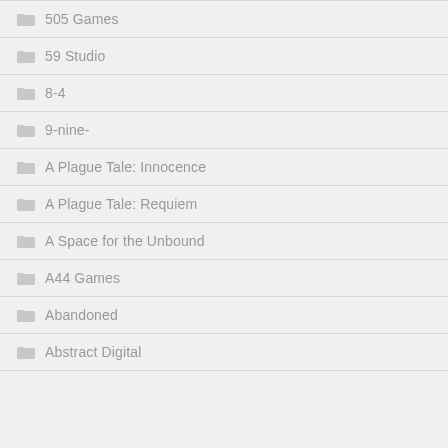505 Games
59 Studio
8-4
9-nine-
A Plague Tale: Innocence
A Plague Tale: Requiem
A Space for the Unbound
A44 Games
Abandoned
Abstract Digital